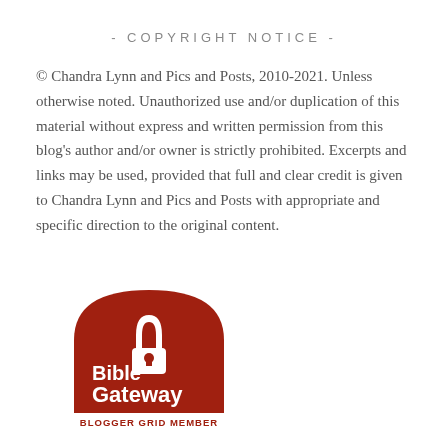- COPYRIGHT NOTICE -
© Chandra Lynn and Pics and Posts, 2010-2021. Unless otherwise noted. Unauthorized use and/or duplication of this material without express and written permission from this blog's author and/or owner is strictly prohibited. Excerpts and links may be used, provided that full and clear credit is given to Chandra Lynn and Pics and Posts with appropriate and specific direction to the original content.
[Figure (logo): Bible Gateway Blogger Grid Member badge — dark red rounded rectangle shape with white arch/lock icon, text 'Bible Gateway' in white, and a banner at the bottom reading 'BLOGGER GRID MEMBER' in dark red on white with decorative arrow ends.]